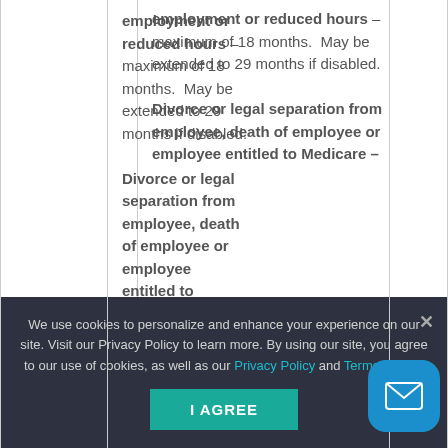|  |  |
| --- | --- |
| Length of Continuation Coverage | employment or reduced hours – maximum of 18 months.  May be extended to 29 months if disabled.
Divorce or legal separation from employee, death of employee or employee entitled to Medicare – |
We use cookies to personalize and enhance your experience on our site. Visit our Privacy Policy to learn more. By using our site, you agree to our use of cookies, as well as our Privacy Policy and Terms of Use.